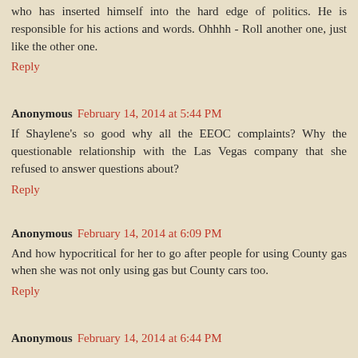who has inserted himself into the hard edge of politics. He is responsible for his actions and words. Ohhhh - Roll another one, just like the other one.
Reply
Anonymous February 14, 2014 at 5:44 PM
If Shaylene's so good why all the EEOC complaints? Why the questionable relationship with the Las Vegas company that she refused to answer questions about?
Reply
Anonymous February 14, 2014 at 6:09 PM
And how hypocritical for her to go after people for using County gas when she was not only using gas but County cars too.
Reply
Anonymous February 14, 2014 at 6:44 PM